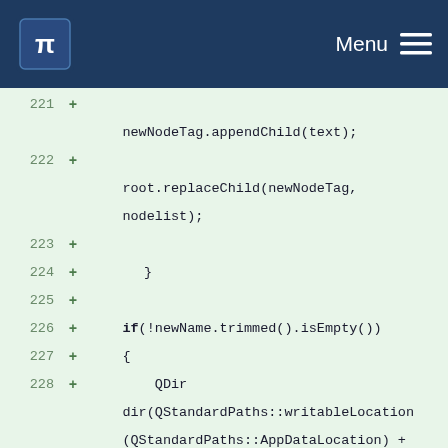KDE Menu
[Figure (screenshot): KDE application navigation bar with KDE logo and Menu hamburger icon on dark blue background]
Code diff viewer showing lines 221-233 of source code with additions marked by '+' signs. Lines include: newNodeTag.appendChild(text); root.replaceChild(newNodeTag, nodelist); closing brace; if(!newName.trimmed().isEmpty()) { QDir dir(QStandardPaths::writableLocation(QStandardPaths::AppDataLocation) + QStringLiteral("/effects/")); if (!dir.exists()) { dir.mkpath(QStringLiteral(".")); } if (dir.exists(newName + QStringLiteral(".xml"))){